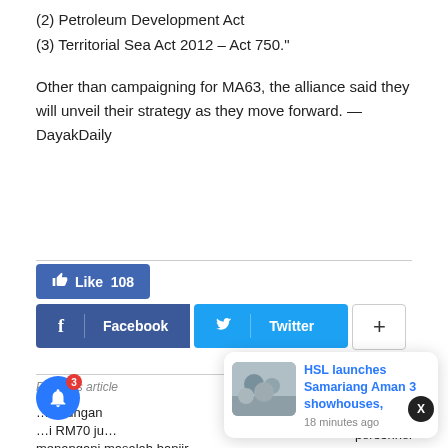(2) Petroleum Development Act
(3) Territorial Sea Act 2012 – Act 750.”
Other than campaigning for MA63, the alliance said they will unveil their strategy as they move forward. — DayakDaily
[Figure (other): Social sharing buttons: Like 108, Facebook, Twitter, and plus button]
Previous article | ...takungan ...i RM70 ju... menangani masalah banjir | personnel
[Figure (other): Notification popup card: HSL launches Samariang Aman 3 showhouses, 18 minutes ago]